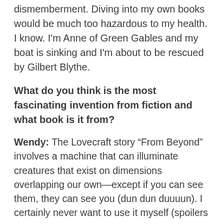dismemberment. Diving into my own books would be much too hazardous to my health. I know. I'm Anne of Green Gables and my boat is sinking and I'm about to be rescued by Gilbert Blythe.
What do you think is the most fascinating invention from fiction and what book is it from?
Wendy: The Lovecraft story “From Beyond” involves a machine that can illuminate creatures that exist on dimensions overlapping our own—except if you can see them, they can see you (dun dun duuuun). I certainly never want to use it myself (spoilers on the intentions and outcomes, it's bad...